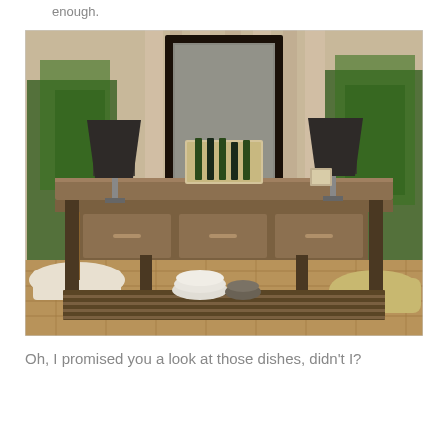enough.
[Figure (photo): Interior furniture store display showing a large rustic wooden console table with three drawers and a lower slatted shelf holding white dishes and a bowl. Two table lamps with dark shades flank the table. A large ornate black mirror stands behind the table. Two large potted trees (ficus) sit on either side. A wine caddy with bottles sits on the table surface.]
Oh, I promised you a look at those dishes, didn't I?